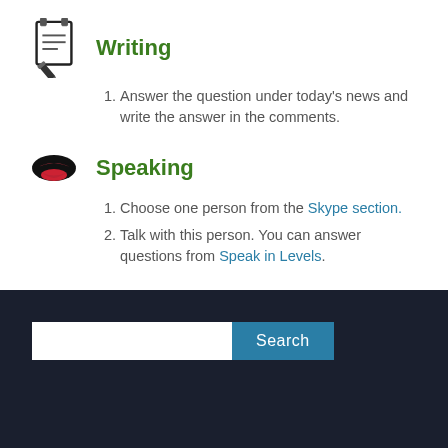Writing
Answer the question under today's news and write the answer in the comments.
Speaking
Choose one person from the Skype section.
Talk with this person. You can answer questions from Speak in Levels.
Search